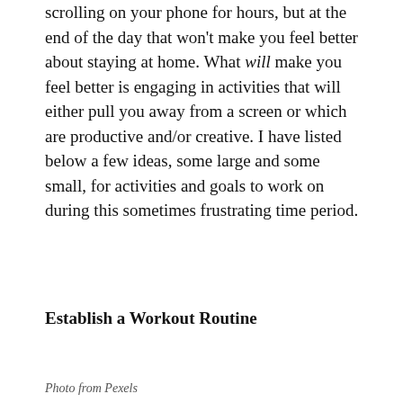scrolling on your phone for hours, but at the end of the day that won't make you feel better about staying at home. What will make you feel better is engaging in activities that will either pull you away from a screen or which are productive and/or creative. I have listed below a few ideas, some large and some small, for activities and goals to work on during this sometimes frustrating time period.
Establish a Workout Routine
[Figure (photo): Photo placeholder area (image not visible in document)]
Photo from Pexels